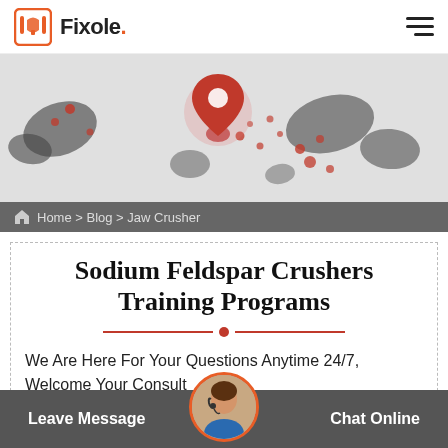Fixole.
[Figure (illustration): Hero banner with a decorative world map background, red location pin icon in center, scattered red dots across the map]
Home > Blog > Jaw Crusher
Sodium Feldspar Crushers Training Programs
We Are Here For Your Questions Anytime 24/7, Welcome Your Consult
Leave Message   Chat Online